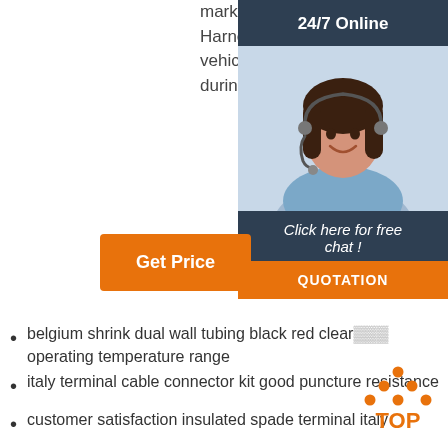market. According to the Wire Harness Manufacturer's Association, vehicle sales have been affected during April and May.
[Figure (other): 24/7 Online chat widget with a customer service representative photo, a 'Get' button, 'Click here for free chat!' text, and a QUOTATION button]
Get Price
belgium shrink dual wall tubing black red clear operating temperature range
italy terminal cable connector kit good puncture resistance
customer satisfaction insulated spade terminal italy
italy vinyl terminal high sales
shrink tab terminal big sales large supply
[Figure (logo): TOP logo with orange dots arranged in a triangle above the word TOP]